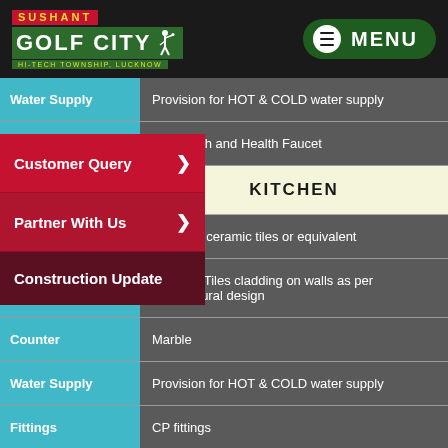[Figure (logo): Sushant Golf City Hi-Tech Township Lucknow logo with golfer silhouette]
MENU
| Category | Description |
| --- | --- |
| Water Supply | Provision for HOT & COLD water supply |
| Other fixtures | Soap Dish and Health Faucet |
|  | KITCHEN |
|  | Non skid ceramic tiles or equivalent |
|  | Ceramic Tiles cladding on walls as per architectural design |
| Counter | Marble |
| Water Supply | Provision for HOT & COLD water supply |
| Fittings | CP fittings |
| Sink | Single Bowl Stainless Sink with Drain Board |
Customer Query
Partner With Us
Construction Update